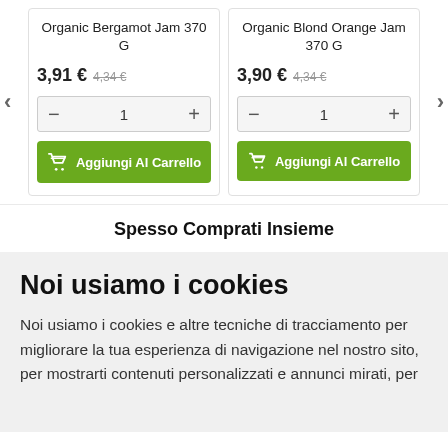Organic Bergamot Jam 370 G
3,91 € 4,34 €
Aggiungi Al Carrello
Organic Blond Orange Jam 370 G
3,90 € 4,34 €
Aggiungi Al Carrello
Spesso Comprati Insieme
Noi usiamo i cookies
Noi usiamo i cookies e altre tecniche di tracciamento per migliorare la tua esperienza di navigazione nel nostro sito, per mostrarti contenuti personalizzati e annunci mirati, per